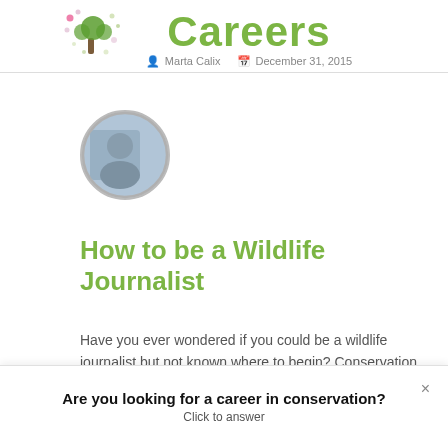Careers — Marta Calix · December 31, 2015
[Figure (photo): Circular avatar photo of a person, partially visible, with soft background]
How to be a Wildlife Journalist
Have you ever wondered if you could be a wildlife journalist but not known where to begin? Conservation Careers Blogger, Charlotte Rixon, shares the
Are you looking for a career in conservation? Click to answer